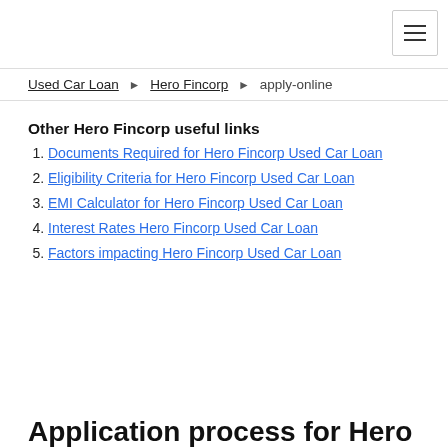☰ (hamburger menu button)
Used Car Loan ▶ Hero Fincorp ▶ apply-online
Other Hero Fincorp useful links
Documents Required for Hero Fincorp Used Car Loan
Eligibility Criteria for Hero Fincorp Used Car Loan
EMI Calculator for Hero Fincorp Used Car Loan
Interest Rates Hero Fincorp Used Car Loan
Factors impacting Hero Fincorp Used Car Loan
Application process for Hero